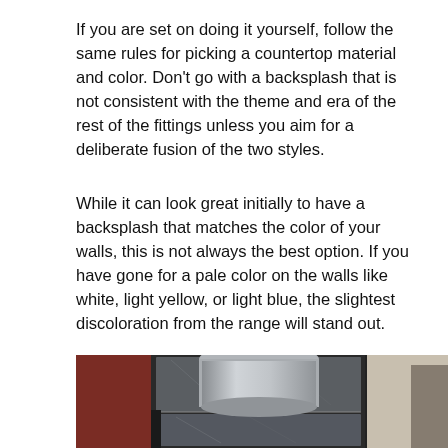If you are set on doing it yourself, follow the same rules for picking a countertop material and color. Don't go with a backsplash that is not consistent with the theme and era of the rest of the fittings unless you aim for a deliberate fusion of the two styles.
While it can look great initially to have a backsplash that matches the color of your walls, this is not always the best option. If you have gone for a pale color on the walls like white, light yellow, or light blue, the slightest discoloration from the range will stand out.
[Figure (photo): A kitchen area showing a stainless steel range hood cylinder mounted above a dark slate/stone tile backsplash. To the left is a dark red/burgundy wall. To the right is a lighter beige wall and a partial view of a doorway. The tiles appear to be large format gray slate with natural veining patterns.]